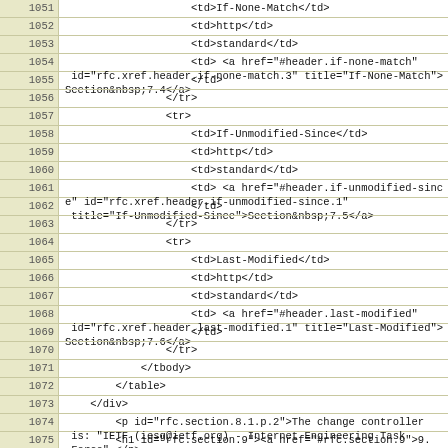Code listing lines 1051-1075 showing XML/HTML source code for HTTP header table and RFC section markup
1051: <td>If-None-Match</td>
1052: <td>http</td>
1053: <td>standard</td>
1054: <td> <a href="#header.if-none-match" id="rfc.xref.header.if-none-match.3" title="If-None-Match">Section&nbsp;7.4</a>
1055: </td>
1056: </tr>
1057: <tr>
1058: <td>If-Unmodified-Since</td>
1059: <td>http</td>
1060: <td>standard</td>
1061: <td> <a href="#header.if-unmodified-since" id="rfc.xref.header.if-unmodified-since.1" title="If-Unmodified-Since">Section&nbsp;7.5</a>
1062: </td>
1063: </tr>
1064: <tr>
1065: <td>Last-Modified</td>
1066: <td>http</td>
1067: <td>standard</td>
1068: <td> <a href="#header.last-modified" id="rfc.xref.header.last-modified.1" title="Last-Modified">Section&nbsp;7.6</a>
1069: </td>
1070: </tr>
1071: </tbody>
1072: </table>
1073: </div>
1074: <p id="rfc.section.8.1.p.2">The change controller is: "IETF (iesg@ietf.org) - Internet Engineering Task Force".</p>
1075: <h1 id="rfc.section.9"><a href="#rfc.section.9">9.